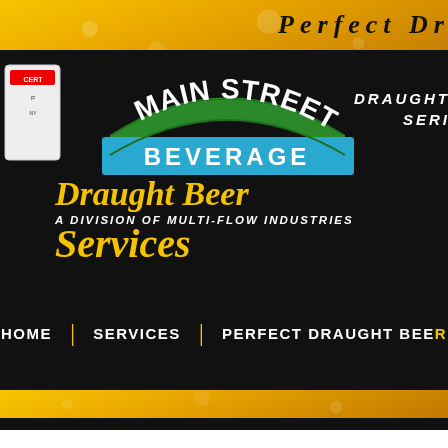[Figure (logo): Main Street Beverage logo with green arch reading MAIN STREET, blue banner reading BEVERAGE, on gold and black background with beer bubbles]
Draught Beer Services
A DIVISION OF MULTI-FLOW INDUSTRIES
Perfect Dr
DRAUGHT SERVICES
HOME
SERVICES
PERFECT DRAUGHT BEE